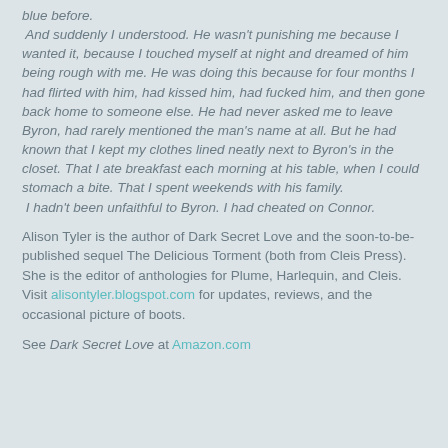blue before.
 And suddenly I understood. He wasn't punishing me because I wanted it, because I touched myself at night and dreamed of him being rough with me. He was doing this because for four months I had flirted with him, had kissed him, had fucked him, and then gone back home to someone else. He had never asked me to leave Byron, had rarely mentioned the man's name at all. But he had known that I kept my clothes lined neatly next to Byron's in the closet. That I ate breakfast each morning at his table, when I could stomach a bite. That I spent weekends with his family.
 I hadn't been unfaithful to Byron. I had cheated on Connor.
Alison Tyler is the author of Dark Secret Love and the soon-to-be-published sequel The Delicious Torment (both from Cleis Press). She is the editor of anthologies for Plume, Harlequin, and Cleis. Visit alisontyler.blogspot.com for updates, reviews, and the occasional picture of boots.
See Dark Secret Love at Amazon.com